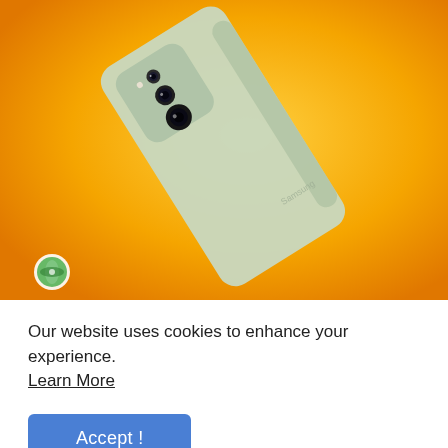[Figure (photo): Samsung smartphone (mint/light green color) shown from the back at an angle on an orange/yellow gradient background, with triple camera module visible. Small logo visible at bottom left corner.]
Our website uses cookies to enhance your experience. Learn More
Accept !